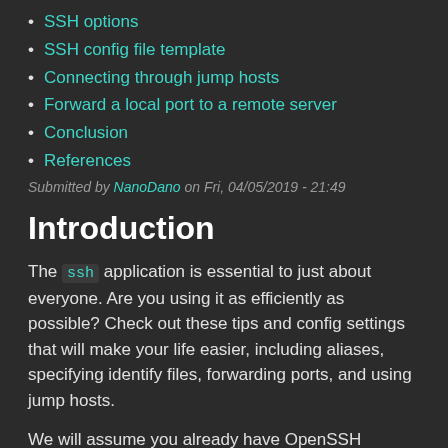SSH options
SSH config file template
Connecting through jump hosts
Forward a local port to a remote server
Conclusion
References
Submitted by NanoDano on Fri, 04/05/2019 - 21:49
Introduction
The ssh application is essential to just about everyone. Are you using it as efficiently as possible? Check out these tips and config settings that will make your life easier, including aliases, specifying identify files, forwarding ports, and using jump hosts.
We will assume you already have OpenSSH installed. It comes installed by default with most Linux distributions. If you are using Windows, try Windows Subsystem for Linux.